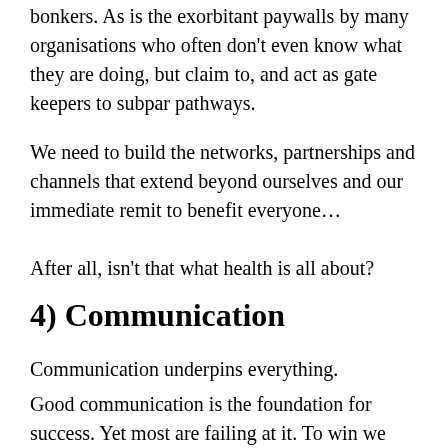bonkers. As is the exorbitant paywalls by many organisations who often don't even know what they are doing, but claim to, and act as gate keepers to subpar pathways.
We need to build the networks, partnerships and channels that extend beyond ourselves and our immediate remit to benefit everyone…
After all, isn't that what health is all about?
4) Communication
Communication underpins everything.
Good communication is the foundation for success. Yet most are failing at it. To win we need to be on the same page, and willing, or able, to translate - but right now it